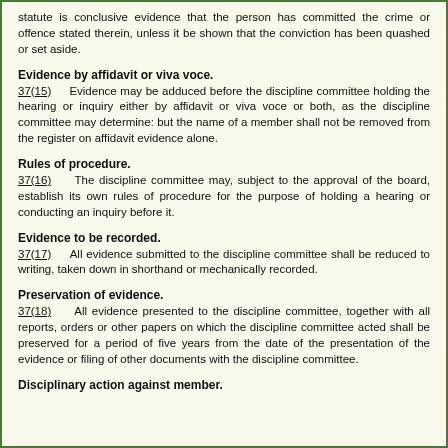statute is conclusive evidence that the person has committed the crime or offence stated therein, unless it be shown that the conviction has been quashed or set aside.
Evidence by affidavit or viva voce.
37(15)      Evidence may be adduced before the discipline committee holding the hearing or inquiry either by affidavit or viva voce or both, as the discipline committee may determine: but the name of a member shall not be removed from the register on affidavit evidence alone.
Rules of procedure.
37(16)      The discipline committee may, subject to the approval of the board, establish its own rules of procedure for the purpose of holding a hearing or conducting an inquiry before it.
Evidence to be recorded.
37(17)      All evidence submitted to the discipline committee shall be reduced to writing, taken down in shorthand or mechanically recorded.
Preservation of evidence.
37(18)      All evidence presented to the discipline committee, together with all reports, orders or other papers on which the discipline committee acted shall be preserved for a period of five years from the date of the presentation of the evidence or filing of other documents with the discipline committee.
Disciplinary action against member.